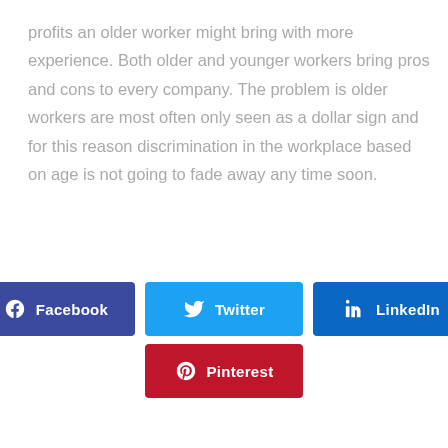profits an older worker might bring with more experience. Both older and younger workers bring pros and cons to every company. The problem is older workers are most often only seen as a dollar sign and for this reason discrimination in the workplace based on age is not going to fade away any time soon.
[Figure (infographic): Four social media share buttons: Facebook (dark blue), Twitter (light blue), LinkedIn (blue), Pinterest (red)]